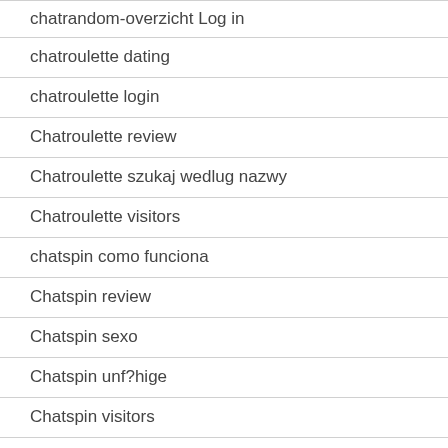chatrandom-overzicht Log in
chatroulette dating
chatroulette login
Chatroulette review
Chatroulette szukaj wedlug nazwy
Chatroulette visitors
chatspin como funciona
Chatspin review
Chatspin sexo
Chatspin unf?hige
Chatspin visitors